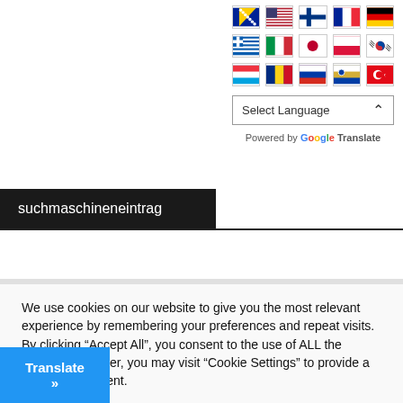[Figure (other): Grid of country flag icons arranged in 3 rows of 5 flags each, displayed in the top-right area of the page]
Select Language
Powered by Google Translate
suchmaschineneintrag
We use cookies on our website to give you the most relevant experience by remembering your preferences and repeat visits. By clicking "Accept All", you consent to the use of ALL the cookies. However, you may visit "Cookie Settings" to provide a controlled consent.
Cookie Settings
Accept All
Translate »